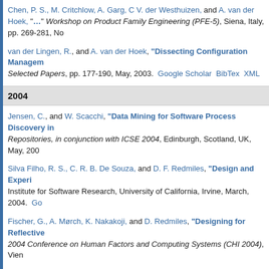Chen, P. S., M. Critchlow, A. Garg, C V. der Westhuizen, and A. van der Hoek, Workshop on Product Family Engineering (PFE-5), Siena, Italy, pp. 269-281, No
van der Lingen, R., and A. van der Hoek, "Dissecting Configuration Management Selected Papers, pp. 177-190, May, 2003.  Google Scholar  BibTex  XML
2004
Jensen, C., and W. Scacchi, "Data Mining for Software Process Discovery in Repositories, in conjunction with ICSE 2004, Edinburgh, Scotland, UK, May, 200
Silva Filho, R. S., C. R. B. De Souza, and D. F. Redmiles, "Design and Experi Institute for Software Research, University of California, Irvine, March, 2004.  Go
Fischer, G., A. Mørch, K. Nakakoji, and D. Redmiles, "Designing for Reflective 2004 Conference on Human Factors and Computing Systems (CHI 2004), Vien
van der Hoek, A., "Design-Time Product Line Architectures for Any-Time Va no. 30, pp. 285-304, 2004.  Google Scholar  BibTex  XML
Kammer, P. J., "A Distributed Architectural Approach to Supporting Work P
Naslavsky, L., R. S. Silva Filho, C. R. B. De Souza, M. Dias, D. J. Richardson, a on Remote Analysis and Measurement of Software Systems (RAMSS 04), held
2005